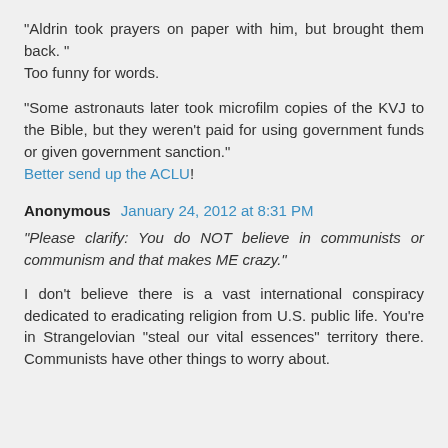"Aldrin took prayers on paper with him, but brought them back. "
Too funny for words.
"Some astronauts later took microfilm copies of the KVJ to the Bible, but they weren't paid for using government funds or given government sanction."
Better send up the ACLU!
Anonymous January 24, 2012 at 8:31 PM
"Please clarify: You do NOT believe in communists or communism and that makes ME crazy."
I don't believe there is a vast international conspiracy dedicated to eradicating religion from U.S. public life. You're in Strangelovian "steal our vital essences" territory there. Communists have other things to worry about.